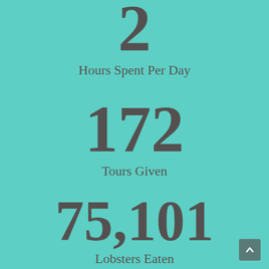2
Hours Spent Per Day
172
Tours Given
75,101
Lobsters Eaten
0